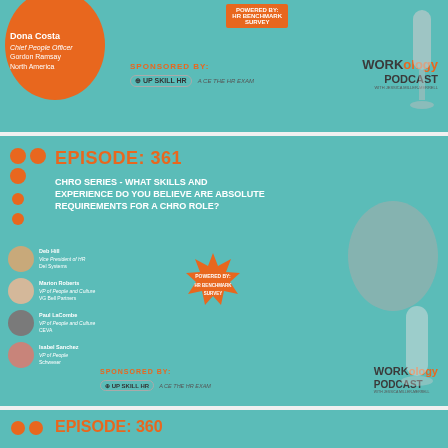[Figure (illustration): Workology Podcast episode card featuring Dona Costa, Chief People Officer, Gordon Ramsay North America. Sponsored by Up Skill HR and Ace the HR Exam. Powered by HR Benchmark Survey.]
[Figure (illustration): Workology Podcast Episode 361 - CHRO Series: What skills and experience do you believe are absolute requirements for a CHRO role? Features multiple guests including VP of People and Culture, VP of HR. Powered by HR Benchmark Survey. Sponsored by Up Skill HR.]
[Figure (illustration): Workology Podcast Episode 360 - partial view at bottom of page.]